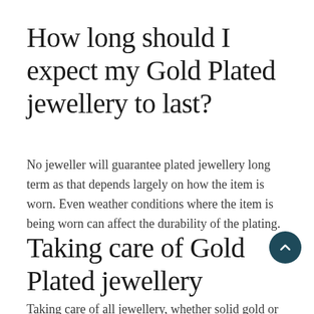How long should I expect my Gold Plated jewellery to last?
No jeweller will guarantee plated jewellery long term as that depends largely on how the item is worn. Even weather conditions where the item is being worn can affect the durability of the plating.
Taking care of Gold Plated jewellery
Taking care of all jewellery, whether solid gold or